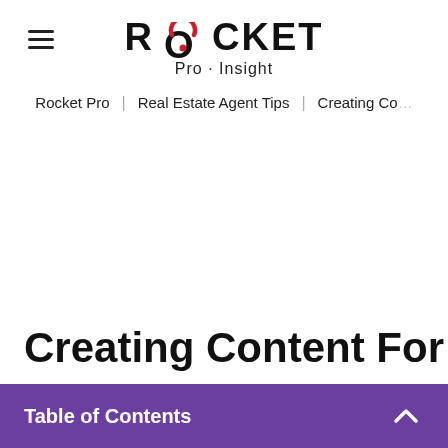Rocket Pro · Insight
Rocket Pro | Real Estate Agent Tips | Creating Co...
Creating Content For
Table of Contents